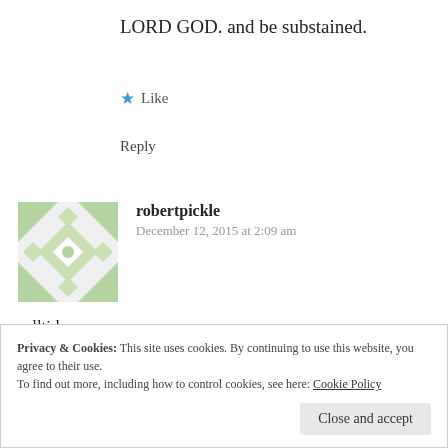LORD GOD. and be substained.
Like
Reply
robertpickle
December 12, 2015 at 2:09 am
rolltide
December 12, 2015 at 1:58 am Edit
It’s only “slander” if it a lie. The video of Mr. Anderson documents what he said,
Privacy & Cookies: This site uses cookies. By continuing to use this website, you agree to their use.
To find out more, including how to control cookies, see here: Cookie Policy
Close and accept
you justify taking up for him? HOW